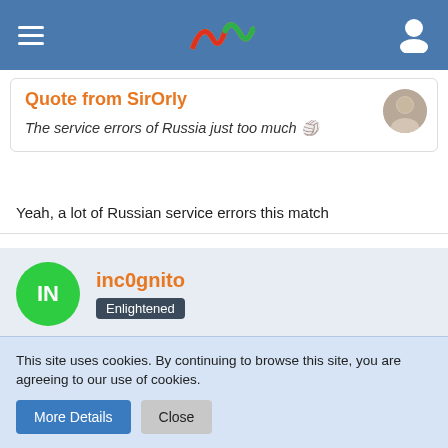Navigation bar with hamburger menu, logo, and user icon
Quote from SirOrly
The service errors of Russia just too much 🏐
Yeah, a lot of Russian service errors this match
inc0gnito — Enlightened
Jun 9th 2021
Russia's weakness are good serving teams, they just don't have that player to stabilize the reception.
This site uses cookies. By continuing to browse this site, you are agreeing to our use of cookies.